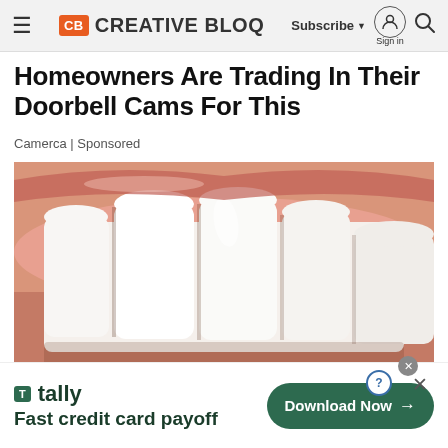CB CREATIVE BLOQ | Subscribe | Sign in
Homeowners Are Trading In Their Doorbell Cams For This
Camerca | Sponsored
[Figure (photo): Close-up macro photograph of human teeth and lips, showing white upper front teeth with glossy texture against pink gum and lip background.]
T tally Fast credit card payoff | Download Now →